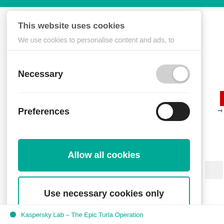This website uses cookies
We use cookies to personalise content and ads, to
Necessary
Preferences
Allow all cookies
Use necessary cookies only
Powered by Cookiebot by Usercentrics
Kaspersky Lab – The Epic Turla Operation